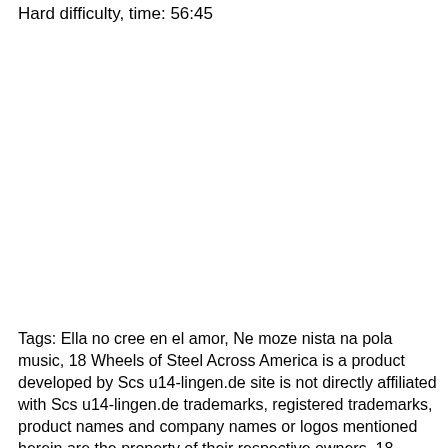Hard difficulty, time: 56:45
Tags: Ella no cree en el amor, Ne moze nista na pola music, 18 Wheels of Steel Across America is a product developed by Scs u14-lingen.de site is not directly affiliated with Scs u14-lingen.de trademarks, registered trademarks, product names and company names or logos mentioned herein are the property of their respective owners. 18 Wheels of Steel: Across America [23 Sep ] This installment is very similar to Hard Truck: 18 Wheels of Steel